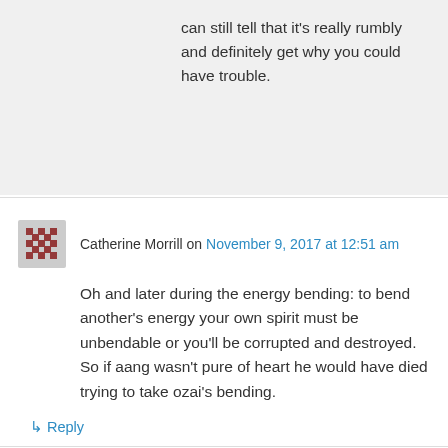can still tell that it's really rumbly and definitely get why you could have trouble.
Catherine Morrill on November 9, 2017 at 12:51 am
Oh and later during the energy bending: to bend another's energy your own spirit must be unbendable or you'll be corrupted and destroyed.
So if aang wasn't pure of heart he would have died trying to take ozai's bending.
↳ Reply